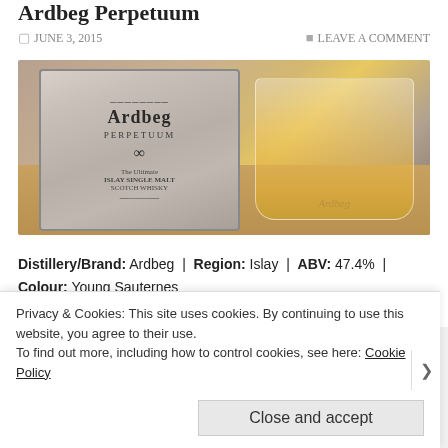Ardbeg Perpetuum
JUNE 3, 2015 | LEAVE A COMMENT
[Figure (photo): Photo of Ardbeg Perpetuum whisky bottle next to an Ardbeg branded whisky glass containing golden whisky, on a wooden table]
Distillery/Brand: Ardbeg | Region: Islay | ABV: 47.4% | Colour: Young Sauternes
Nose: 22 | Taste: 23 | Finish: 22 | Balance: 22 | Rating: 89
Privacy & Cookies: This site uses cookies. By continuing to use this website, you agree to their use.
To find out more, including how to control cookies, see here: Cookie Policy
Close and accept